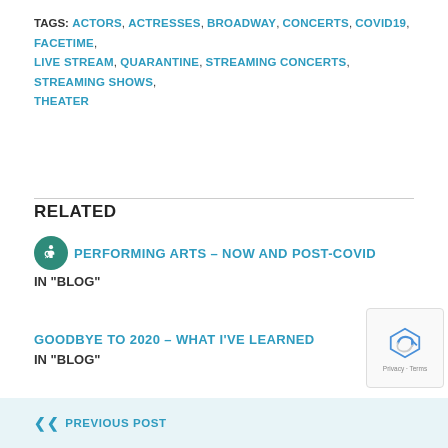TAGS: ACTORS, ACTRESSES, BROADWAY, CONCERTS, COVID19, FACETIME, LIVE STREAM, QUARANTINE, STREAMING CONCERTS, STREAMING SHOWS, THEATER
RELATED
PERFORMING ARTS – NOW AND POST-COVID
IN "BLOG"
GOODBYE TO 2020 – WHAT I'VE LEARNED
IN "BLOG"
PREVIOUS POST